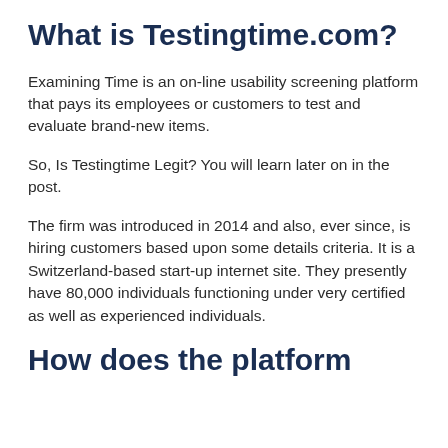What is Testingtime.com?
Examining Time is an on-line usability screening platform that pays its employees or customers to test and evaluate brand-new items.
So, Is Testingtime Legit? You will learn later on in the post.
The firm was introduced in 2014 and also, ever since, is hiring customers based upon some details criteria. It is a Switzerland-based start-up internet site. They presently have 80,000 individuals functioning under very certified as well as experienced individuals.
How does the platform